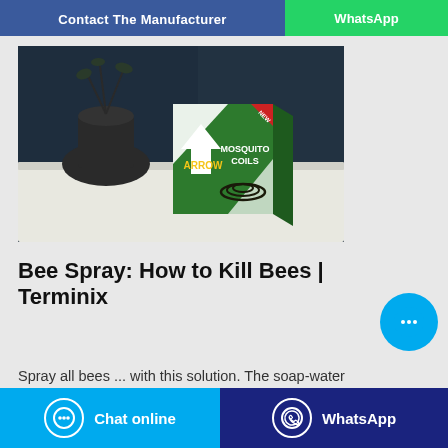Contact the Manufacturer | WhatsApp
[Figure (photo): Product photo of Arrow Mosquito Coils box on a white cloth surface with a dark vase and plant in background, dark blue-grey background]
Bee Spray: How to Kill Bees | Terminix
Spray all bees ... with this solution. The soap-water
Chat online | WhatsApp